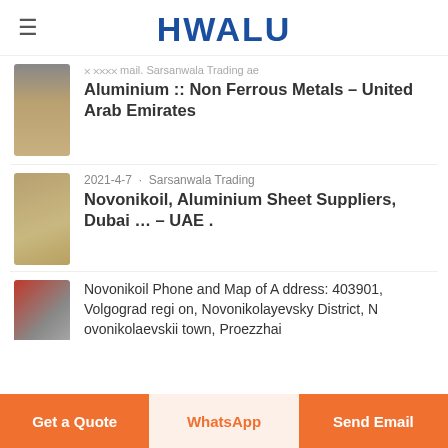HWALU
Aluminium :: Non Ferrous Metals - United Arab Emirates
2021-4-7 · Sarsanwala Trading
Novonikoil, Aluminium Sheet Suppliers, Dubai ... - UAE .
Novonikoil Phone and Map of Address: 403901, Volgograd region, Novonikolayevsky District, Novonikolaevskii town, Proezzhai
Get a Quote | WhatsApp | Send Email